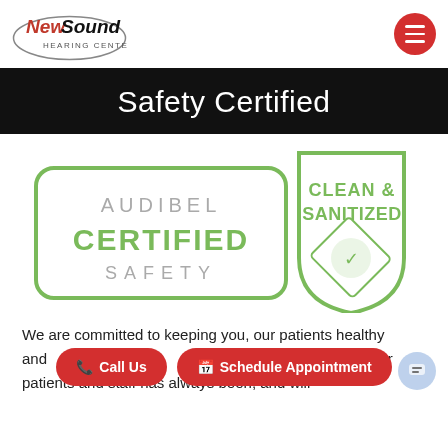NewSound Hearing Centers — navigation header with logo and menu button
Safety Certified
[Figure (logo): Audibel Certified Safety badge with 'AUDIBEL CERTIFIED SAFETY' text in a rounded rectangle and a shield icon with 'CLEAN & SANITIZED' and a sanitizing spray graphic, green outline style]
We are committed to keeping you, our patients healthy and [safe/well]. The safety of our patients and staff has always been, and will